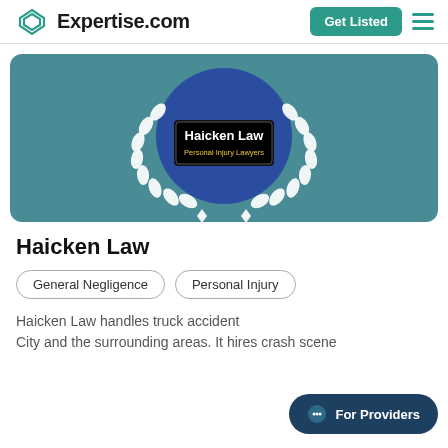Expertise.com
[Figure (logo): Haicken Law Personal Injury Lawyers logo inside blue circle with white laurel wreath on teal banner background]
Haicken Law
General Negligence
Personal Injury
Haicken Law handles truck accident City and the surrounding areas. It hires crash scene